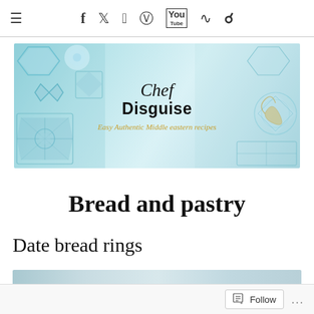≡  f  𝕋  𝕡  📷  You  ⊳  🔍
[Figure (logo): Chef in Disguise blog banner with blue geometric tile patterns and Arabic-inspired decorations. Text reads 'Chef in Disguise' with tagline 'Easy Authentic Middle eastern recipes']
Bread and pastry
Date bread rings
[Figure (photo): Partial photo of Date bread rings, appears blueish/grey due to rendering]